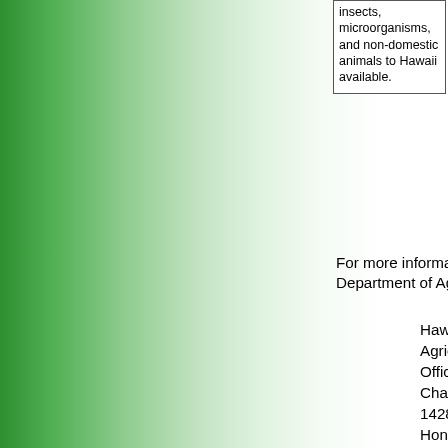| insects, microorganisms, and non-domestic animals to Hawaii available. |
For more information on the Hawaii Department of Agriculture, write to:
Hawaii Department of Agriculture
Office of the Chairperson
1428 South King Street
Honolulu, HI 96814-2512
Phone: (808) 973-9560
E-mail Address: hdoa.info@hawaii.gov